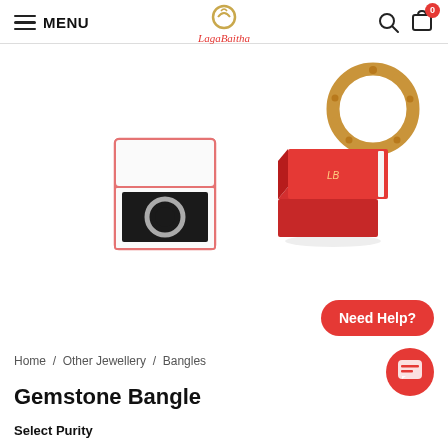MENU | LagaBaitha logo | search | cart (0)
[Figure (photo): Gold gemstone bangle ring displayed in upper right area]
[Figure (photo): Jewellery ring in an open red gift box with black interior]
[Figure (photo): Closed red gift box / book]
Home / Other Jewellery / Bangles
Gemstone Bangle
Select Purity
Need Help?